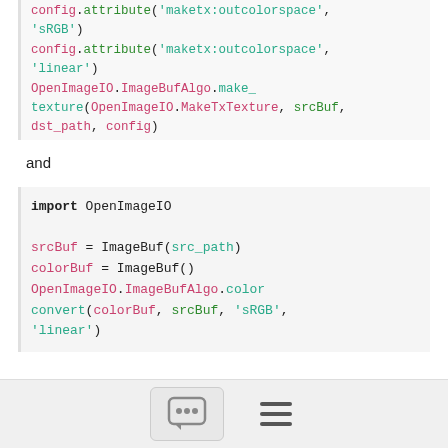config.attribute('maketx:outcolorspace', 'sRGB')
config.attribute('maketx:outcolorspace', 'linear')
OpenImageIO.ImageBufAlgo.make_texture(OpenImageIO.MakeTxTexture, srcBuf, dst_path, config)
and
import OpenImageIO
srcBuf = ImageBuf(src_path)
colorBuf = ImageBuf()
OpenImageIO.ImageBufAlgo.color_convert(colorBuf, srcBuf, 'sRGB', 'linear')
[chat icon] [menu icon]